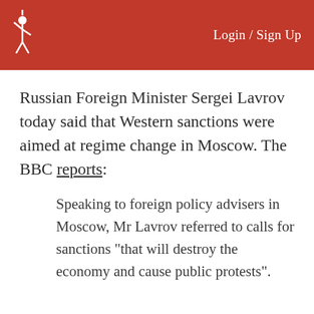Login / Sign Up
Russian Foreign Minister Sergei Lavrov today said that Western sanctions were aimed at regime change in Moscow. The BBC reports:
Speaking to foreign policy advisers in Moscow, Mr Lavrov referred to calls for sanctions “that will destroy the economy and cause public protests”.